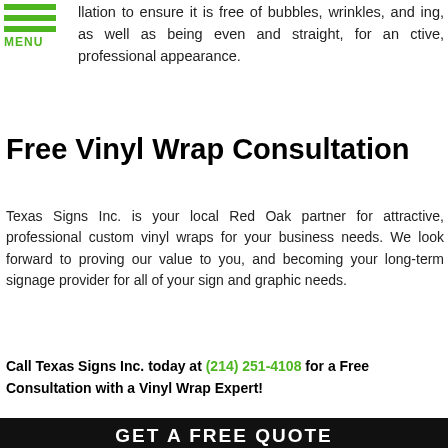llation to ensure it is free of bubbles, wrinkles, and ing, as well as being even and straight, for an ctive, professional appearance.
Free Vinyl Wrap Consultation
Texas Signs Inc. is your local Red Oak partner for attractive, professional custom vinyl wraps for your business needs. We look forward to proving our value to you, and becoming your long-term signage provider for all of your sign and graphic needs.
Call Texas Signs Inc. today at (214) 251-4108 for a Free Consultation with a Vinyl Wrap Expert!
[Figure (infographic): Black banner with GET A FREE QUOTE heading and form fields for Full Name, Best Phone, Email Address, plus green phone and email icon buttons]
GET A FREE QUOTE